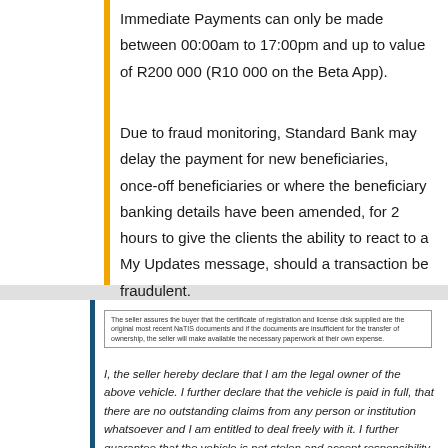Immediate Payments can only be made between 00:00am to 17:00pm and up to value of R200 000 (R10 000 on the Beta App).
Due to fraud monitoring, Standard Bank may delay the payment for new beneficiaries, once-off beneficiaries or where the beneficiary banking details have been amended, for 2 hours to give the clients the ability to react to a My Updates message, should a transaction be fraudulent.
The seller assures the buyer that the certificate of registration and license disk supplied are the original most recent NaTIS documents and if the documents are insufficient for the transfer of ownership, the seller will make available the necessary paperwork at their own expense.
I, the seller hereby declare that I am the legal owner of the above vehicle. I further declare that the vehicle is paid in full, that there are no outstanding claims from any person or institution whatsoever and I am entitled to deal freely with it. I further guarantee that the vehicle is not stolen and accept responsibility should the vehicle have been involved in any illegal activities